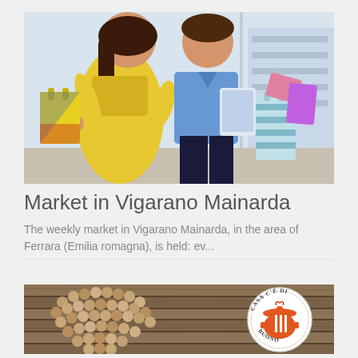[Figure (photo): Two young people shopping — a woman in a yellow dress holding colorful shopping bags and a man in a light blue shirt holding a tablet — standing in front of a store display.]
Market in Vigarano Mainarda
The weekly market in Vigarano Mainarda, in the area of Ferrara (Emilia romagna), is held: ev...
[Figure (photo): A rustic wooden plank background with wine corks arranged in a heart shape on the left, and a circular logo reading 'Casa c'è di buono' with an orange cooking pot and utensils on the right.]